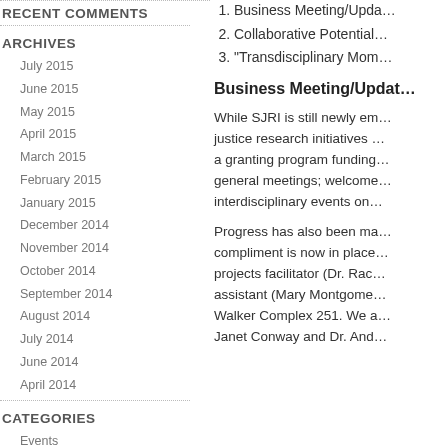RECENT COMMENTS
ARCHIVES
July 2015
June 2015
May 2015
April 2015
March 2015
February 2015
January 2015
December 2014
November 2014
October 2014
September 2014
August 2014
July 2014
June 2014
April 2014
CATEGORIES
Events
Funding
News
Opportunities
SJRI Originals
Business Meeting/Upda…
Collaborative Potential…
“Transdisciplinary Mom…
Business Meeting/Updat…
While SJRI is still newly em… justice research initiatives … a granting program funding… general meetings; welcome… interdisciplinary events on…
Progress has also been ma… compliment is now in place… projects facilitator (Dr. Rac… assistant (Mary Montgome… Walker Complex 251. We a… Janet Conway and Dr. And…